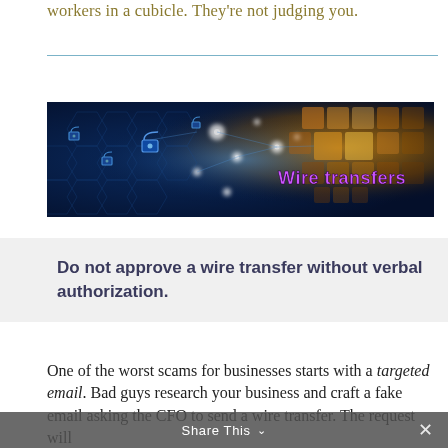workers in a cubicle. They're not judging you.
[Figure (illustration): Dark blue digital security background with glowing padlock icons and hexagonal network patterns, with warm amber/orange glowing squares on the right side, and text overlay reading 'Wire transfers' in purple]
Do not approve a wire transfer without verbal authorization.
One of the worst scams for businesses starts with a targeted email. Bad guys research your business and craft a fake email asking the CFO to send a wire transfer. The request will
Share This ∨  ✕